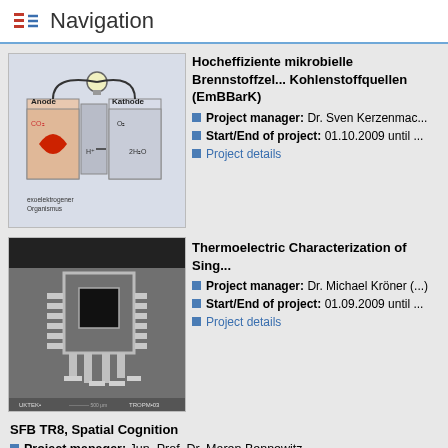Navigation
[Figure (illustration): Diagram of a microbial fuel cell showing anode, cathode, exoelectrogenic organism, CO2, H+, O2, and 2H2O components]
Hocheffiziente mikrobielle Brennstoffzellen mit Kohlenstoffquellen (EmBBarK)
Project manager: Dr. Sven Kerzenmac...
Start/End of project: 01.10.2009 until ...
Project details
[Figure (photo): SEM (scanning electron microscope) image of a thermoelectric device with rectangular structure and contact pads]
Thermoelectric Characterization of Sing...
Project manager: Dr. Michael Kröner (...)
Start/End of project: 01.09.2009 until ...
Project details
SFB TR8, Spatial Cognition
Project manager: Jun. Prof. Dr. Maren Bennewitz
Start/End of project: 01.09.2009 until 31.12.2014
Project details